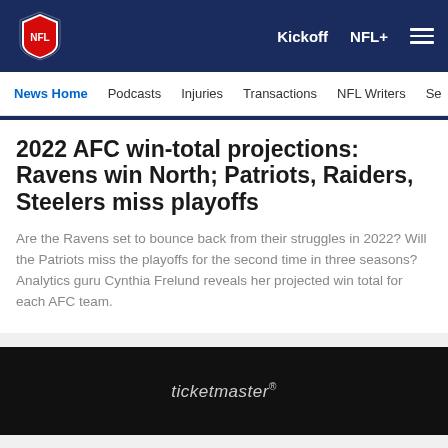NFL | Kickoff | NFL+
News Home | Podcasts | Injuries | Transactions | NFL Writers | Se
2022 AFC win-total projections: Ravens win North; Patriots, Raiders, Steelers miss playoffs
Are the Ravens set to bounce back from their struggles in 2022? Will the Patriots miss the playoffs for the second time in three seasons? Analytics guru Cynthia Frelund reveals her projected win total for each AFC team.
[Figure (other): Ticketmaster advertisement banner with dark background]
[Figure (other): Social sharing icons: Facebook, Twitter, Email, Link]